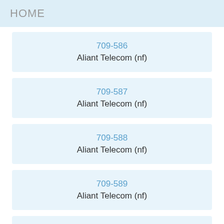HOME
709-586
Aliant Telecom (nf)
709-587
Aliant Telecom (nf)
709-588
Aliant Telecom (nf)
709-589
Aliant Telecom (nf)
709-590